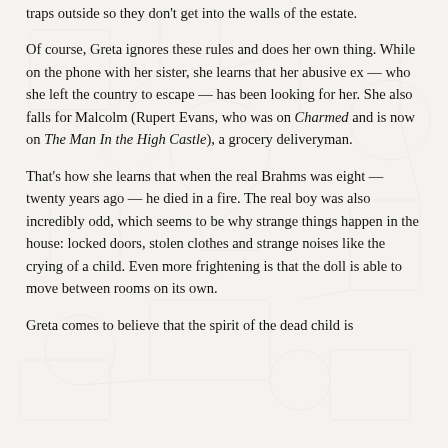traps outside so they don't get into the walls of the estate.
Of course, Greta ignores these rules and does her own thing. While on the phone with her sister, she learns that her abusive ex — who she left the country to escape — has been looking for her. She also falls for Malcolm (Rupert Evans, who was on Charmed and is now on The Man In the High Castle), a grocery deliveryman.
That's how she learns that when the real Brahms was eight — twenty years ago — he died in a fire. The real boy was also incredibly odd, which seems to be why strange things happen in the house: locked doors, stolen clothes and strange noises like the crying of a child. Even more frightening is that the doll is able to move between rooms on its own.
Greta comes to believe that the spirit of the dead child is